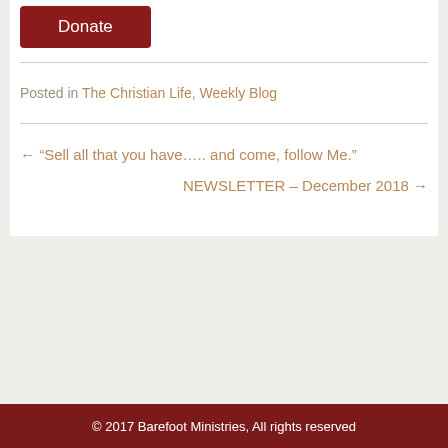Donate
Posted in The Christian Life, Weekly Blog
← “Sell all that you have….. and come, follow Me.”
NEWSLETTER – December 2018 →
© 2017 Barefoot Ministries, All rights reserved